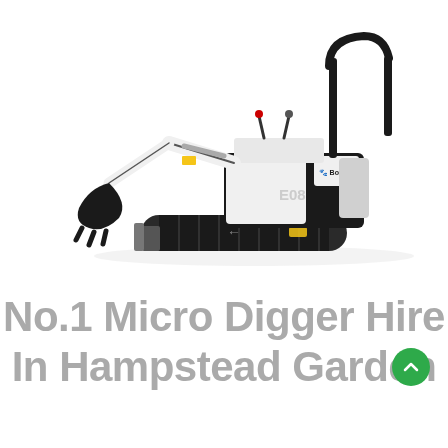[Figure (photo): A white and black Bobcat E08 mini excavator / micro digger on a white background, shown in profile view with the arm extended to the left and tracks visible.]
No.1 Micro Digger Hire In Hampstead Garden